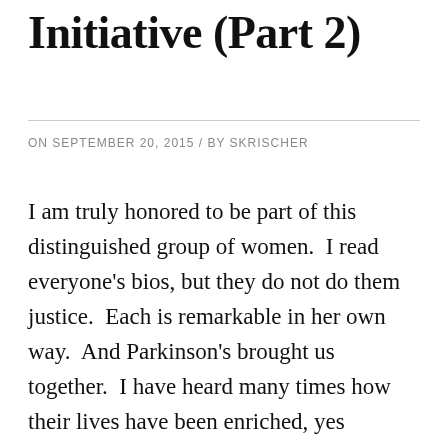Initiative (Part 2)
ON SEPTEMBER 20, 2015 / BY SKRISCHER
I am truly honored to be part of this distinguished group of women.  I read everyone's bios, but they do not do them justice.  Each is remarkable in her own way.  And Parkinson's brought us together.  I have heard many times how their lives have been enriched, yes enriched, by having PD.  No, we don't want to be defined by our PD.  But what has happened is that because we have PD, we...